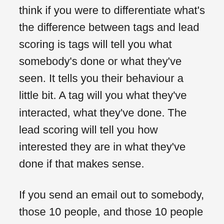think if you were to differentiate what's the difference between tags and lead scoring is tags will tell you what somebody's done or what they've seen. It tells you their behaviour a little bit. A tag will you what they've interacted, what they've done. The lead scoring will tell you how interested they are in what they've done if that makes sense.
If you send an email out to somebody, those 10 people, and those 10 people open it, all those 10 people might get one one point. If a couple of those people click through on a like in that email they might get small points and then if they land on the content page on your side, it has some